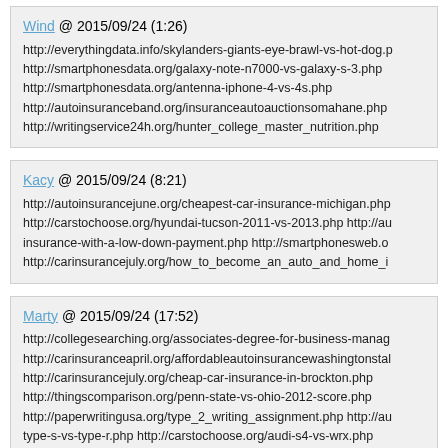Wind @ 2015/09/24 (1:26)
http://everythingdata.info/skylanders-giants-eye-brawl-vs-hot-dog.p...
http://smartphonesdata.org/galaxy-note-n7000-vs-galaxy-s-3.php
http://smartphonesdata.org/antenna-iphone-4-vs-4s.php
http://autoinsuranceband.org/insuranceautoauctionsomahane.php
http://writingservice24h.org/hunter_college_master_nutrition.php
Kacy @ 2015/09/24 (8:21)
http://autoinsurancejune.org/cheapest-car-insurance-michigan.php...
http://carstochoose.org/hyundai-tucson-2011-vs-2013.php http://au...
insurance-with-a-low-down-payment.php http://smartphonesweb.o...
http://carinsurancejuly.org/how_to_become_an_auto_and_home_i...
Marty @ 2015/09/24 (17:52)
http://collegesearching.org/associates-degree-for-business-manag...
http://carinsuranceapril.org/affordableautoinsurancewashingtonstal...
http://carinsurancejuly.org/cheap-car-insurance-in-brockton.php
http://thingscomparison.org/penn-state-vs-ohio-2012-score.php
http://paperwritingusa.org/type_2_writing_assignment.php http://au...
type-s-vs-type-r.php http://carstochoose.org/audi-s4-vs-wrx.php
Matei @ 2015/09/24 (22:46)
http://collegesearching.org/med-tech-schools-in-mo.php